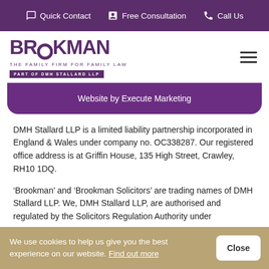Quick Contact  Free Consultation  Call Us
[Figure (logo): Brookman - The Family Firm for Family Law, Part of DMH Stallard LLP logo]
Website by Execute Marketing
DMH Stallard LLP is a limited liability partnership incorporated in England & Wales under company no. OC338287. Our registered office address is at Griffin House, 135 High Street, Crawley, RH10 1DQ.
'Brookman' and 'Brookman Solicitors' are trading names of DMH Stallard LLP. We, DMH Stallard LLP, are authorised and regulated by the Solicitors Regulation Authority under
We use cookies to help us give you the best experience on our website. Find out more